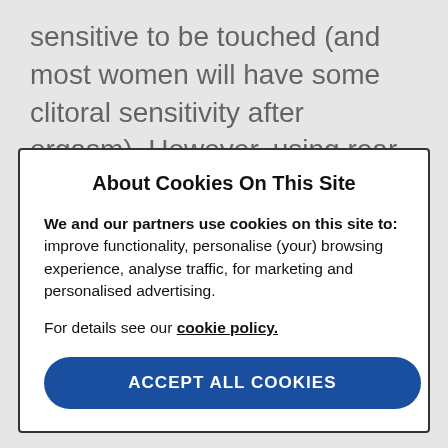sensitive to be touched (and most women will have some clitoral sensitivity after orgasm). However, using rear entry positions such as doggy style and opting for indirect clitoral stimulation by cupping
About Cookies On This Site
We and our partners use cookies on this site to: improve functionality, personalise (your) browsing experience, analyse traffic, for marketing and personalised advertising.
For details see our cookie policy.
ACCEPT ALL COOKIES